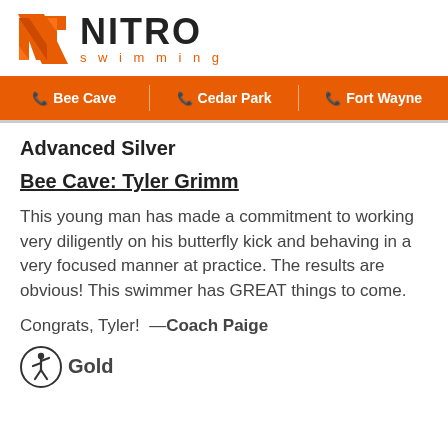[Figure (logo): Nitro Swimming logo with orange N graphic and NITRO text with 'swimming' subtitle in orange]
Bee Cave | Cedar Park | Fort Wayne
Advanced Silver
Bee Cave: Tyler Grimm
This young man has made a commitment to working very diligently on his butterfly kick and behaving in a very focused manner at practice. The results are obvious! This swimmer has GREAT things to come.
Congrats, Tyler! —Coach Paige
Gold